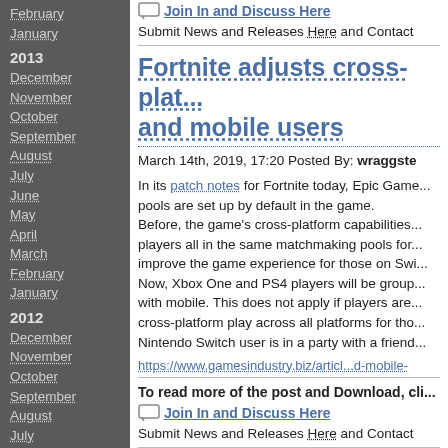February
January
2013
December
November
October
September
August
July
June
May
April
March
February
January
2012
December
November
October
September
August
July
June
May
April
March
February
January
2011
December
November
October
Join In and Discuss Here
Submit News and Releases Here and Contact
Fortnite adjusts cross-platform matchmaking pools for Switch and mobile users
March 14th, 2019, 17:20 Posted By: wraggste
In its patch notes for Fortnite today, Epic Games... pools are set up by default in the game. Before, the game's cross-platform capabilities... players all in the same matchmaking pools for... improve the game experience for those on Swi... Now, Xbox One and PS4 players will be group... with mobile. This does not apply if players are... cross-platform play across all platforms for tho... Nintendo Switch user is in a party with a friend...
https://www.gamesindustry.biz/articl...d-mobile-
To read more of the post and Download, cli...
Join In and Discuss Here
Submit News and Releases Here and Contact
Nishijin Pachinko Monoga...